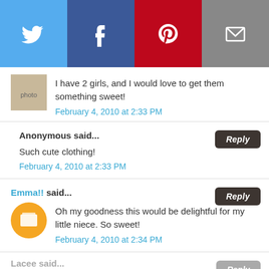[Figure (infographic): Social sharing bar with Twitter (blue), Facebook (dark blue), Pinterest (red), and Email (grey) buttons with white icons]
I have 2 girls, and I would love to get them something sweet!
February 4, 2010 at 2:33 PM
Anonymous said...
Such cute clothing!
February 4, 2010 at 2:33 PM
Emma!! said...
Oh my goodness this would be delightful for my little niece. So sweet!
February 4, 2010 at 2:34 PM
Lacee said...